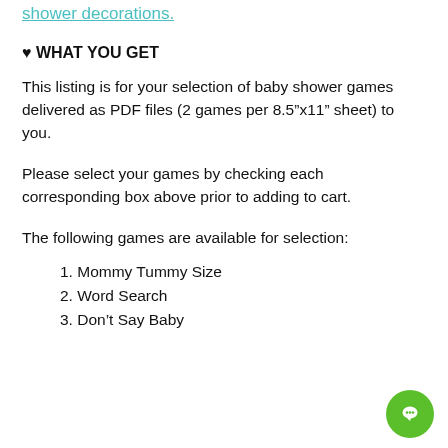shower decorations.
♥ WHAT YOU GET
This listing is for your selection of baby shower games delivered as PDF files (2 games per 8.5″x11″ sheet) to you.
Please select your games by checking each corresponding box above prior to adding to cart.
The following games are available for selection:
1. Mommy Tummy Size
2. Word Search
3. Don't Say Baby